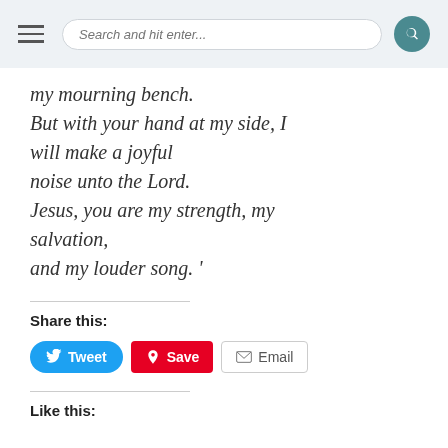Search and hit enter...
my mourning bench.
But with your hand at my side, I will make a joyful
noise unto the Lord.
Jesus, you are my strength, my salvation,
and my louder song. '
Share this:
Tweet  Save  Email
Like this: